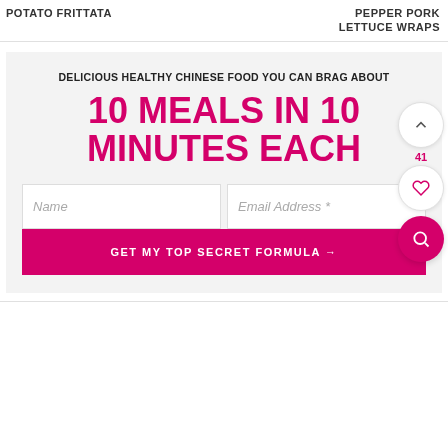POTATO FRITTATA
PEPPER PORK LETTUCE WRAPS
DELICIOUS HEALTHY CHINESE FOOD YOU CAN BRAG ABOUT
10 MEALS IN 10 MINUTES EACH
Name
Email Address *
GET MY TOP SECRET FORMULA →